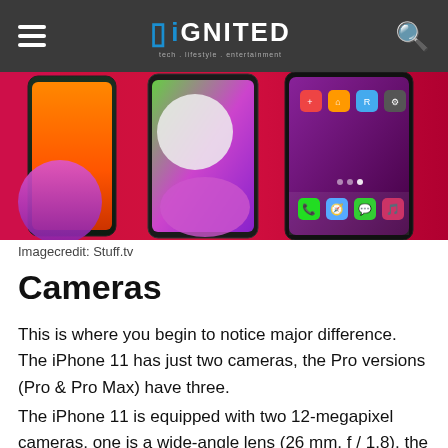iGNITED
[Figure (photo): Three iPhone 11 models displayed against a red and pink background showing different wallpapers and home screens]
Imagecredit: Stuff.tv
Cameras
This is where you begin to notice major difference. The iPhone 11 has just two cameras, the Pro versions (Pro & Pro Max) have three.
The iPhone 11 is equipped with two 12-megapixel cameras, one is a wide-angle lens (26 mm, f / 1.8), the